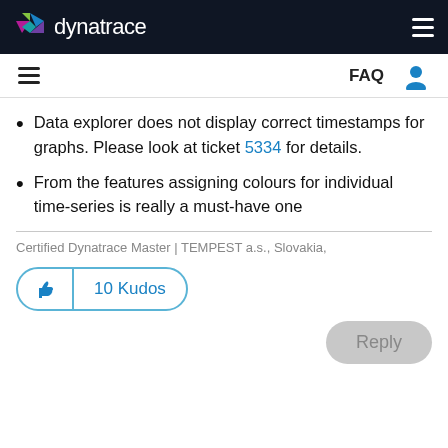dynatrace
Data explorer does not display correct timestamps for graphs. Please look at ticket 5334 for details.
From the features assigning colours for individual time-series is really a must-have one
Certified Dynatrace Master | TEMPEST a.s., Slovakia,
10 Kudos
Reply